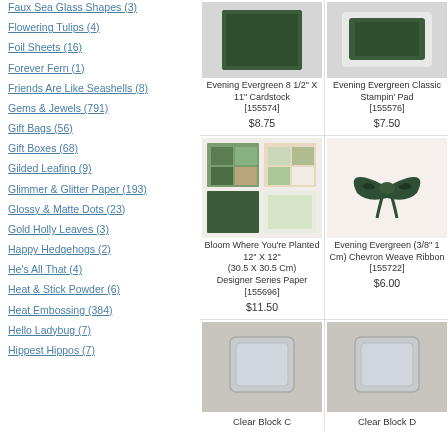Faux Sea Glass Shapes (3)
Flowering Tulips (4)
Foil Sheets (16)
Forever Fern (1)
Friends Are Like Seashells (8)
Gems & Jewels (791)
Gift Bags (56)
Gift Boxes (68)
Gilded Leafing (9)
Glimmer & Glitter Paper (193)
Glossy & Matte Dots (23)
Gold Holly Leaves (3)
Happy Hedgehogs (2)
He's All That (4)
Heat & Stick Powder (6)
Heat Embossing (384)
Hello Ladybug (7)
Hippest Hippos (7)
[Figure (photo): Evening Evergreen 8 1/2 X 11 Cardstock product image]
Evening Evergreen 8 1/2" X 11" Cardstock [155574] $8.75
[Figure (photo): Evening Evergreen Classic Stampin Pad product image]
Evening Evergreen Classic Stampin' Pad [155576] $7.50
[Figure (photo): Bloom Where You're Planted 12 X 12 Designer Series Paper product image]
Bloom Where You're Planted 12" X 12" (30.5 X 30.5 Cm) Designer Series Paper [155696] $11.50
[Figure (photo): Evening Evergreen 3/8 1 Cm Chevron Weave Ribbon product image]
Evening Evergreen (3/8" 1 Cm) Chevron Weave Ribbon [155722] $6.00
[Figure (photo): Clear Block C product image]
Clear Block C
[Figure (photo): Clear Block D product image]
Clear Block D